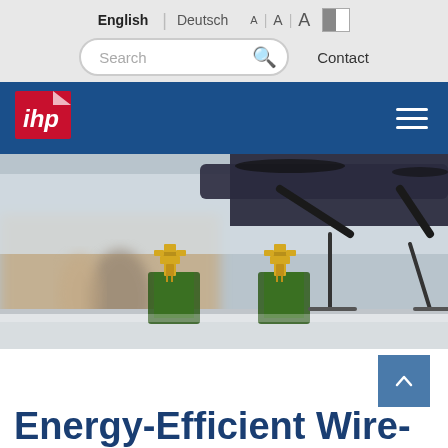English | Deutsch  A A A [contrast]  Search [icon]  Contact
[Figure (logo): IHP institute logo on blue navigation bar with hamburger menu icon]
[Figure (photo): Laboratory scene with drone/UAV hovering above a table with two gold/green circuit board antenna modules; two blurred people in background]
Energy-Efficient Wire-